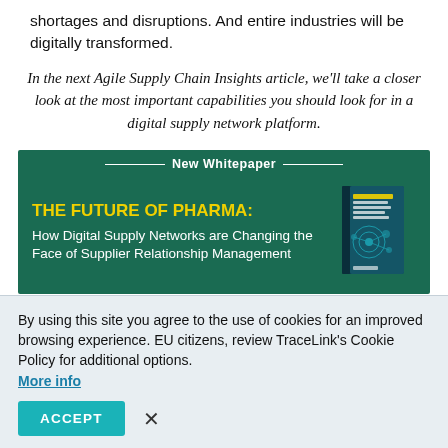shortages and disruptions. And entire industries will be digitally transformed.
In the next Agile Supply Chain Insights article, we'll take a closer look at the most important capabilities you should look for in a digital supply network platform.
[Figure (infographic): New Whitepaper banner with green background. Title: 'THE FUTURE OF PHARMA: How Digital Supply Networks are Changing the Face of Supplier Relationship Management' with a book image on the right.]
By using this site you agree to the use of cookies for an improved browsing experience. EU citizens, review TraceLink's Cookie Policy for additional options. More info